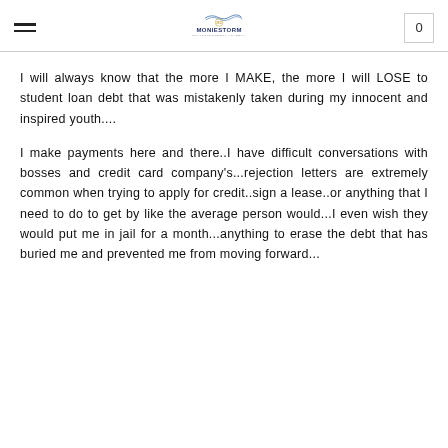MonieStorm Cryptocurrency Academy
I will always know that the more I MAKE, the more I will LOSE to student loan debt that was mistakenly taken during my innocent and inspired youth....
I make payments here and there..I have difficult conversations with bosses and credit card company's...rejection letters are extremely common when trying to apply for credit..sign a lease..or anything that I need to do to get by like the average person would...I even wish they would put me in jail for a month...anything to erase the debt that has buried me and prevented me from moving forward...